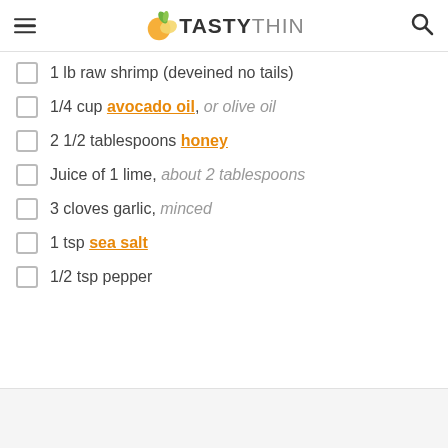TASTYTHIN
1 lb raw shrimp (deveined no tails)
1/4 cup avocado oil, or olive oil
2 1/2 tablespoons honey
Juice of 1 lime, about 2 tablespoons
3 cloves garlic, minced
1 tsp sea salt
1/2 tsp pepper